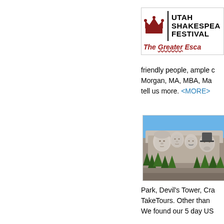[Figure (logo): Utah Shakespeare Festival logo with crown icon and tagline 'The Greater Esca...']
friendly people, ample c...
Morgan, MA, MBA, Ma...
tell us more. <MORE>
[Figure (photo): Photo of Mount Rushmore with four presidents carved in stone against a blue sky]
Park, Devil's Tower, Cra...
TakeTours. Other than...
We found our 5 day US...